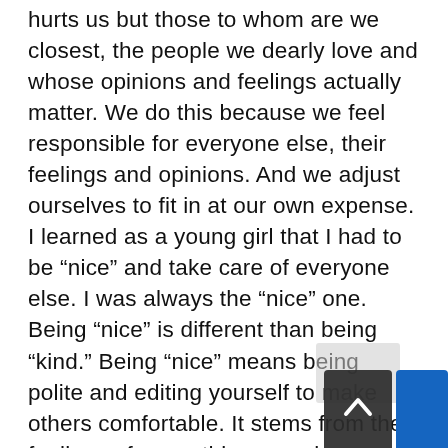hurts us but those to whom are we closest, the people we dearly love and whose opinions and feelings actually matter. We do this because we feel responsible for everyone else, their feelings and opinions. And we adjust ourselves to fit in at our own expense. I learned as a young girl that I had to be “nice” and take care of everyone else. I was always the “nice” one. Being “nice” is different than being “kind.” Being “nice” means being polite and editing yourself to make others comfortable. It stems from the feelings of unworthiness and approval seeking. Being “kind” is different. It comes from compassion and a deeper connection to humanity and that only emerges from a strong sense of self value and worth. So with only “ME” in the square now, I strive for b kind over nice. Instead of taking care of every else’s feelings, I take care of my own. An amazing